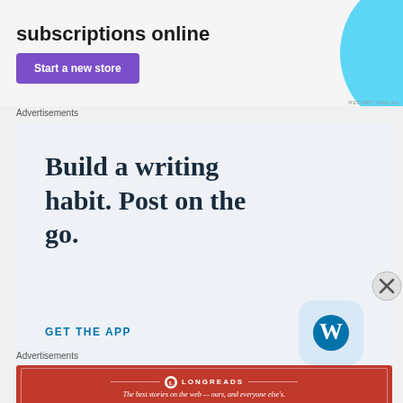[Figure (other): Top advertisement banner showing 'subscriptions online' text with purple 'Start a new store' button and cyan decorative shape]
Advertisements
[Figure (other): WordPress app advertisement with large serif text 'Build a writing habit. Post on the go.' with 'GET THE APP' CTA and WordPress logo icon on light blue background]
Advertisements
[Figure (other): Longreads advertisement on red background with logo and tagline 'The best stories on the web — ours, and everyone else's.']